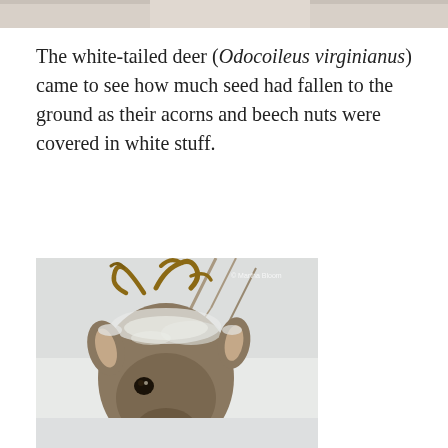[Figure (photo): Partial top edge of a photo visible at the very top of the page, cut off]
The white-tailed deer (Odocoileus virginianus) came to see how much seed had fallen to the ground as their acorns and beech nuts were covered in white stuff.
[Figure (photo): Close-up photograph of a white-tailed deer (Odocoileus virginianus) with antlers, its head and face dusted with snow, set against a snowy winter background with bare tree branches. A small watermark reads '© Martha Bloom' in the upper right of the photo.]